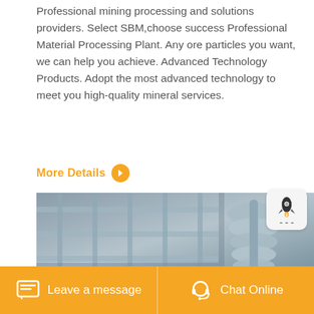Professional mining processing and solutions providers. Select SBM,choose success Professional Material Processing Plant. Any ore particles you want, we can help you achieve. Advanced Technology Products. Adopt the most advanced technology to meet you high-quality mineral services.
More Details
[Figure (photo): Industrial mining equipment showing spiral screw conveyor and metal grating components in grey/silver tones]
[Figure (illustration): Rocket icon button in light grey rounded square]
Leave a message   Chat Online